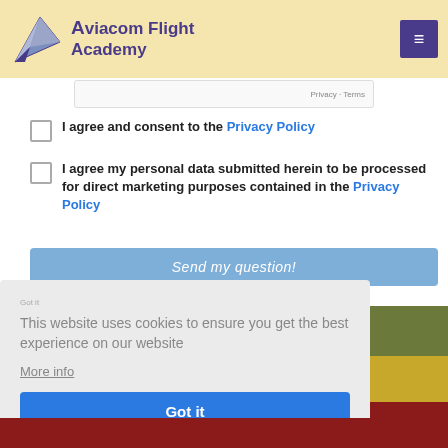Aviacom Flight Academy
Privacy · Terms
I agree and consent to the Privacy Policy
I agree my personal data submitted herein to be processed for direct marketing purposes contained in the Privacy Policy
Send my question!
This website uses cookies to ensure you get the best experience on our website
More info
Got it